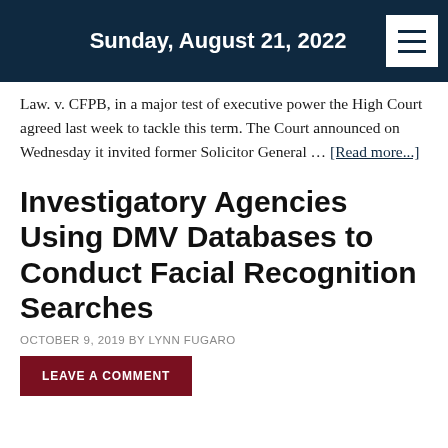Sunday, August 21, 2022
Law. v. CFPB, in a major test of executive power the High Court agreed last week to tackle this term. The Court announced on Wednesday it invited former Solicitor General … [Read more...]
Investigatory Agencies Using DMV Databases to Conduct Facial Recognition Searches
OCTOBER 9, 2019 BY LYNN FUGARO
LEAVE A COMMENT